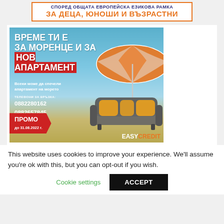[Figure (illustration): Banner with text: СПОРЕД ОБЩАТА ЕВРОПЕЙСКА ЕЗИКОВА РАМКА / ЗА ДЕЦА, ЮНОШИ И ВЪЗРАСТНИ in orange and dark blue on white background with orange border]
[Figure (photo): EasyCredit advertisement with beach theme: large text ВРЕМЕ ТИ Е ЗА МОРЕНЦЕ И ЗА НОВ АПАРТАМЕНТ, subtext Всеки може да спечели апартамент на морето, phones 0882280162, 0882657845, 0878716470, ПРОМО до 31.08.2022 г., EASYCREDIT logo, beach umbrella and sofa imagery on blue sky background]
This website uses cookies to improve your experience. We'll assume you're ok with this, but you can opt-out if you wish.
Cookie settings
ACCEPT